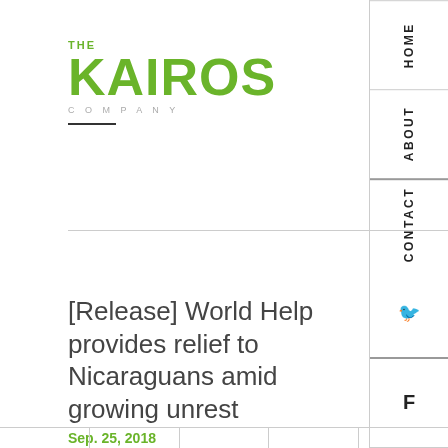[Figure (logo): The Kairos Company logo in green with black underline]
[Release] World Help provides relief to Nicaraguans amid growing unrest
Sep. 25, 2018
HOME | ABOUT | CONTACT